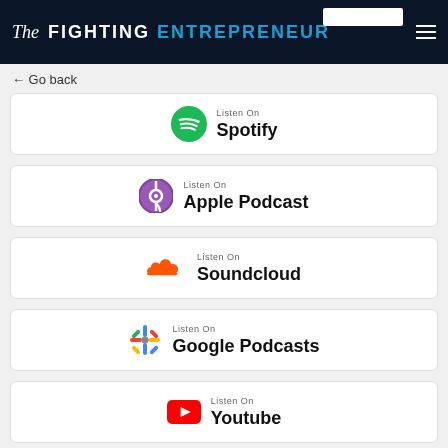The Fighting Entrepreneur
← Go back
[Figure (logo): Spotify logo with Listen On Spotify text]
[Figure (logo): Apple Podcast logo with Listen On Apple Podcast text]
[Figure (logo): Soundcloud logo with Listen On Soundcloud text]
[Figure (logo): Google Podcasts logo with Listen On Google Podcasts text]
[Figure (logo): YouTube logo with Listen On Youtube text]